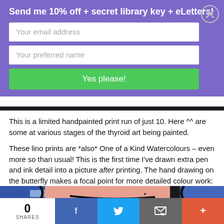Send me 10% off + secret library key + eLetters!
Your email address
Your preferred name
Yes please!
This is a limited handpainted print run of just 10. Here ^^ are some at various stages of the thyroid art being painted.
These lino prints are *also* One of a Kind Watercolours – even more so than usual! This is the first time I've drawn extra pen and ink detail into a picture after printing. The hand drawing on the butterfly makes a focal point for more detailed colour work:
[Figure (photo): Close-up photo of a butterfly/thyroid artwork showing blue, pink and black hand-drawn ink details]
0 SHARES | Facebook | Twitter | Email | More